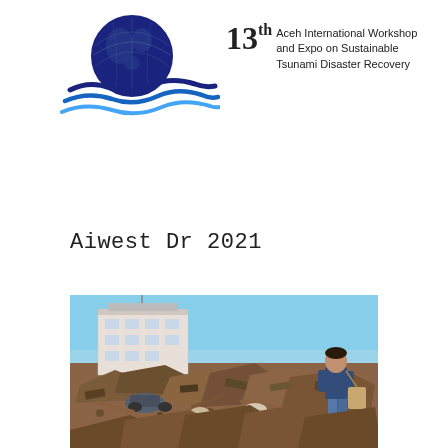[Figure (logo): 13th Aceh International Workshop and Expo on Sustainable Tsunami Disaster Recovery logo with globe and wave graphics]
Aiwest Dr 2021
[Figure (photo): A person standing amid extensive tsunami disaster debris with a damaged building in the background under a clear sky]